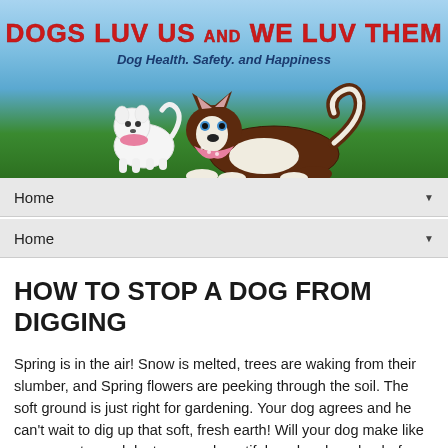[Figure (illustration): Website banner for 'Dogs Luv Us and We Luv Them' showing two cartoon dogs on green grass with a blue sky background. A small white fluffy dog and a brown and white Husky/Siberian dog wearing pink bandanas are illustrated. Title text reads 'DOGS LUV US AND WE LUV THEM' in bold red, subtitle reads 'Dog Health. Safety. and Happiness' in dark blue italic.]
Home
Home
HOW TO STOP A DOG FROM DIGGING
Spring is in the air! Snow is melted, trees are waking from their slumber, and Spring flowers are peeking through the soil. The soft ground is just right for gardening. Your dog agrees and he can't wait to dig up that soft, fresh earth! Will your dog make like an excavator and destroy your beautiful yard and garden before